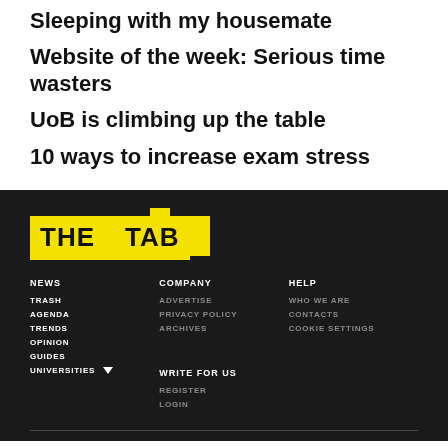Sleeping with my housemate
Website of the week: Serious time wasters
UoB is climbing up the table
10 ways to increase exam stress
[Figure (logo): The Tab logo — yellow banner with bold black text reading THE TAB]
NEWS | TRASH | AGENDA | TRENDS | OPINION | GUIDES | UNIVERSITIES | COMPANY | ADVERTISE | PRIVACY POLICY | ARCHIVES | WRITE FOR US | REGISTER | LOGIN | HELP | WHO WE ARE | CONTACTS | COOKIE SETTINGS